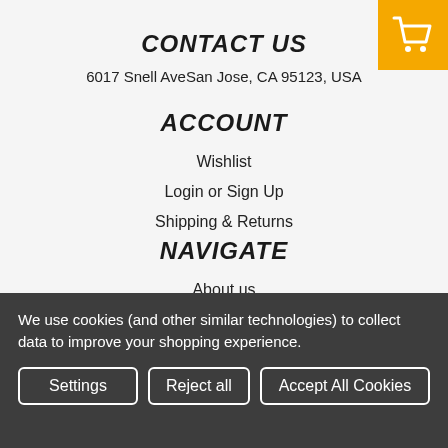[Figure (other): Shopping cart icon on yellow/orange background button in top-right corner]
CONTACT US
6017 Snell AveSan Jose, CA 95123, USA
ACCOUNT
Wishlist
Login or Sign Up
Shipping & Returns
NAVIGATE
About us
We use cookies (and other similar technologies) to collect data to improve your shopping experience.
Settings | Reject all | Accept All Cookies